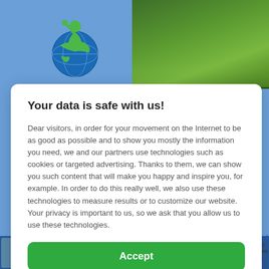[Figure (screenshot): Background webpage with logo top-left (green globe/person icon), trees/greenery top-right, blue and grey page content behind modal]
Your data is safe with us!
Dear visitors, in order for your movement on the Internet to be as good as possible and to show you mostly the information you need, we and our partners use technologies such as cookies or targeted advertising. Thanks to them, we can show you such content that will make you happy and inspire you, for example. In order to do this really well, we also use these technologies to measure results or to customize our website. Your privacy is important to us, so we ask that you allow us to use these technologies.
Accept
Deny
Set